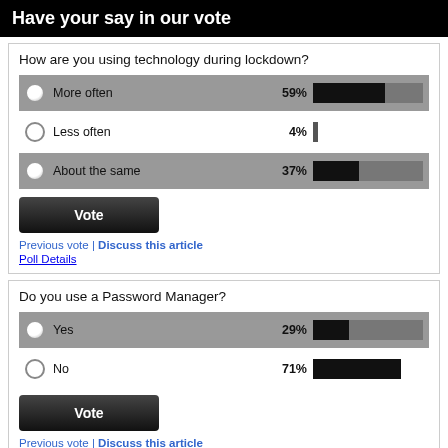Have your say in our vote
How are you using technology during lockdown?
[Figure (bar-chart): How are you using technology during lockdown?]
Vote
Previous vote | Discuss this article
Poll Details
Do you use a Password Manager?
[Figure (bar-chart): Do you use a Password Manager?]
Vote
Previous vote | Discuss this article